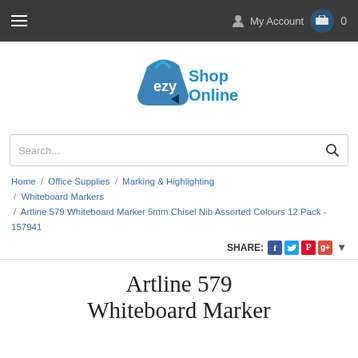Navigation bar with hamburger menu, My Account link, and cart (0)
[Figure (logo): ezy Shop Online logo — shopping bag icon in blue with 'ezy' text and 'Shop Online' in blue text]
Search...
Home / Office Supplies / Marking & Highlighting / Whiteboard Markers / Artline 579 Whiteboard Marker 5mm Chisel Nib Assorted Colours 12 Pack - 157941
SHARE:
Artline 579 Whiteboard Marker